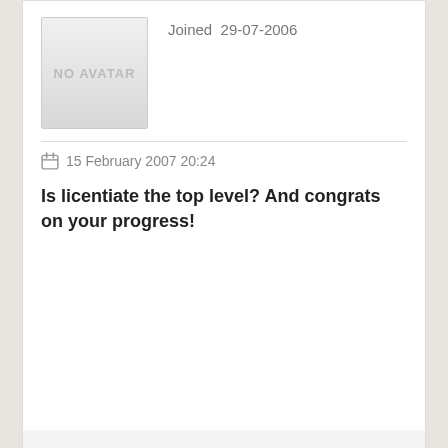[Figure (other): No Avatar placeholder image box at top]
Joined  29-07-2006
15 February 2007 20:24
Is licentiate the top level? And congrats on your progress!
Nenad Jovanovich
[Figure (other): No Avatar placeholder image box for Nenad Jovanovich]
Nenad Jovanovich
Total Posts: 408
Joined  24-12-2006